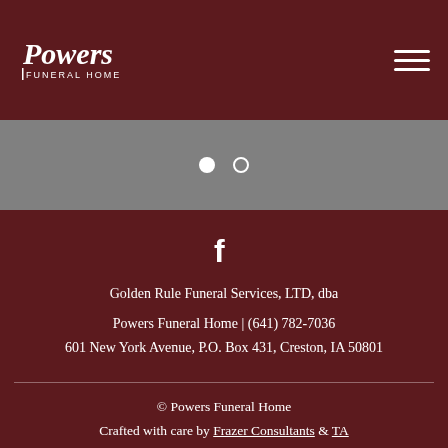[Figure (logo): Powers Funeral Home logo in white text on dark maroon background]
[Figure (other): Slider navigation dots: one filled white circle and one empty circle outline]
[Figure (other): Facebook icon 'f' in white]
Golden Rule Funeral Services, LTD, dba
Powers Funeral Home | (641) 782-7036
601 New York Avenue, P.O. Box 431, Creston, IA 50801
© Powers Funeral Home
Crafted with care by Frazer Consultants & TA
Privacy Policy & Terms of Use | Accessibility